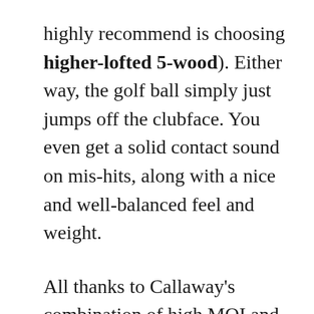highly recommend is choosing higher-lofted 5-wood). Either way, the golf ball simply just jumps off the clubface. You even get a solid contact sound on mis-hits, along with a nice and well-balanced feel and weight.
All thanks to Callaway's combination of high MOI and ultra-low CG placement, this Rogue fairway wood is very, very easy to hit and also remarkably accurate. Then there's the brand's exclusive X-Face VFT and Jailbreak technologies that make your golf goals come true – higher